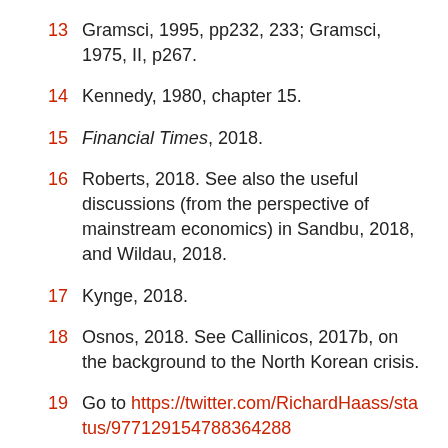13 Gramsci, 1995, pp232, 233; Gramsci, 1975, II, p267.
14 Kennedy, 1980, chapter 15.
15 Financial Times, 2018.
16 Roberts, 2018. See also the useful discussions (from the perspective of mainstream economics) in Sandbu, 2018, and Wildau, 2018.
17 Kynge, 2018.
18 Osnos, 2018. See Callinicos, 2017b, on the background to the North Korean crisis.
19 Go to https://twitter.com/RichardHaass/status/977129154788364288
20 Leo Panitch, “Trumping the American Empire”,